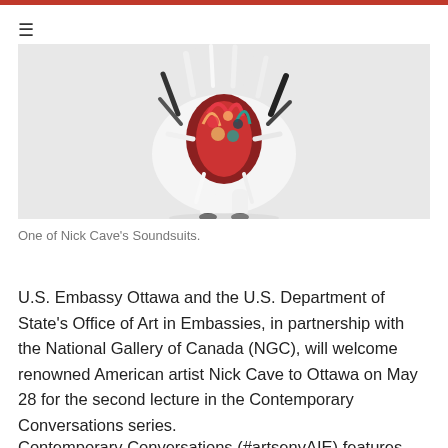[Figure (photo): One of Nick Cave's Soundsuits — a colorful, feathery sculptural costume photographed against a light gray background, showing fur-like textures in white, black, and colorful materials.]
One of Nick Cave's Soundsuits.
U.S. Embassy Ottawa and the U.S. Department of State's Office of Art in Embassies, in partnership with the National Gallery of Canada (NGC), will welcome renowned American artist Nick Cave to Ottawa on May 28 for the second lecture in the Contemporary Conversations series.
Contemporary Conversations (#artsenvAIE) features four